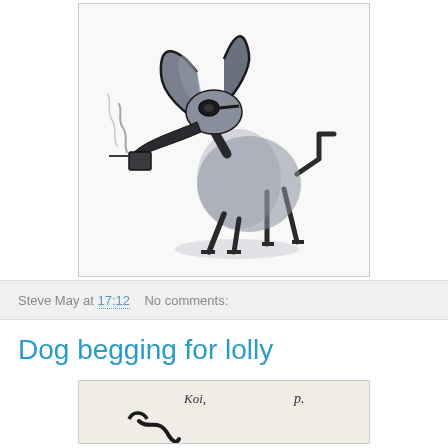[Figure (illustration): Ink drawing of a stylized dog standing upright, holding a smoking cup or pipe in its beak/mouth. The dog has large floppy ears, a long beak, and geometric angular legs. Rendered in dark ink with grey wash shading on a light background.]
Steve May at 17:12    No comments:
Dog begging for lolly
[Figure (illustration): Partial view of a second illustration showing handwritten text reading 'Koi,' and 'p.' at top, with dark ink sketch lines visible at the bottom — appears to be another dog drawing.]